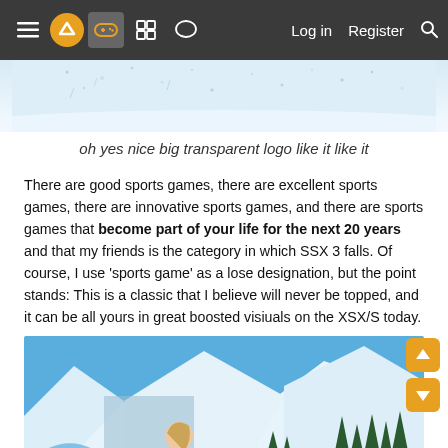≡ [logo] [gamepad] [grid] [chat] Log in Register [search]
[Figure (photo): Partial snow/sky background image at top of article with scattered snow particle effects]
oh yes nice big transparent logo like it like it
There are good sports games, there are excellent sports games, there are innovative sports games, and there are sports games that become part of your life for the next 20 years and that my friends is the category in which SSX 3 falls. Of course, I use 'sports game' as a lose designation, but the point stands: This is a classic that I believe will never be topped, and it can be all yours in great boosted visiuals on the XSX/S today.
[Figure (photo): Screenshot from SSX 3 video game showing a snowboarder character (female, blonde) on a snowy mountain slope with pine trees in the background, blue sky, and stylized snow/ice effects in the foreground]